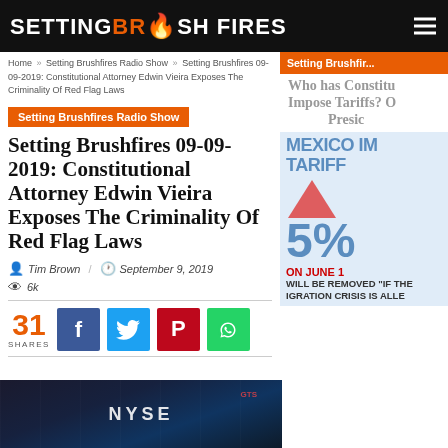SETTING BRUSHFIRES
Who has Constitutional Authority to Impose Tariffs? Only the President
Home » Setting Brushfires Radio Show » Setting Brushfires 09-09-2019: Constitutional Attorney Edwin Vieira Exposes The Criminality Of Red Flag Laws
Setting Brushfires Radio Show
Setting Brushfires 09-09-2019: Constitutional Attorney Edwin Vieira Exposes The Criminality Of Red Flag Laws
Tim Brown / September 9, 2019
6k
31 SHARES
[Figure (screenshot): NYSE trading floor photo showing stock exchange interior with screens and traders]
[Figure (infographic): Mexico import tariffs graphic showing 5% tariff on June, will be removed if the migration crisis is alleviated]